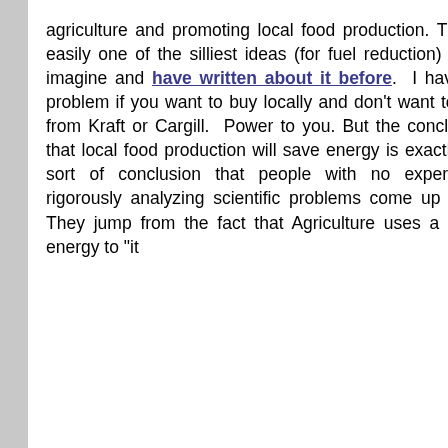agriculture and promoting local food production. This is easily one of the silliest ideas (for fuel reduction) I can imagine and have written about it before. I have no problem if you want to buy locally and don't want to buy from Kraft or Cargill. Power to you. But the conclusion that local food production will save energy is exactly the sort of conclusion that people with no experience rigorously analyzing scientific problems come up with. They jump from the fact that Agriculture uses a lot of energy to "it